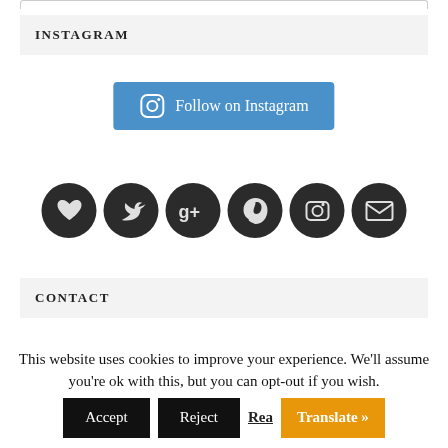INSTAGRAM
[Figure (illustration): Blue button with Instagram camera icon and text 'Follow on Instagram']
[Figure (illustration): Six dark circular social media icons: heart/Bloglovin, bird/Twitter, Google+, Pinterest, Instagram camera, email envelope]
CONTACT
This website uses cookies to improve your experience. We'll assume you're ok with this, but you can opt-out if you wish.
Accept  Reject  Rea...  Translate »